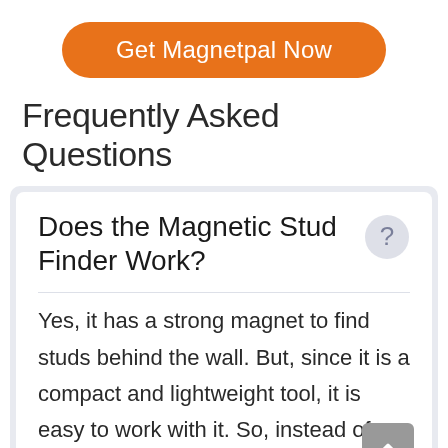[Figure (other): Orange rounded button labeled 'Get Magnetpal Now']
Frequently Asked Questions
Does the Magnetic Stud Finder Work?
Yes, it has a strong magnet to find studs behind the wall. But, since it is a compact and lightweight tool, it is easy to work with it. So, instead of using a large device to find a